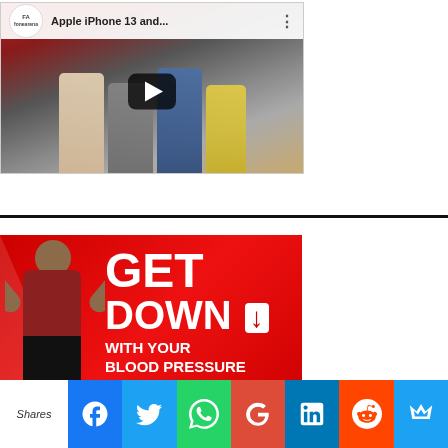[Figure (screenshot): YouTube video thumbnail showing Apple iPhone 13 lineup with channel logo 'fonearena' and play button overlay]
[Figure (photo): Advertisement banner: red background with woman flexing, text reading GET DOWN WITH YOUR BLOOD PRESSURE with ACT NOW button]
Shares
[Figure (infographic): Social share bar with Facebook, Twitter, WhatsApp, Google+, LinkedIn, Reddit, and another social icon buttons]